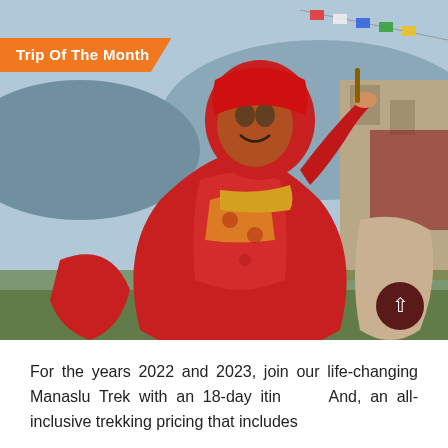[Figure (photo): A person wearing an elaborate red ceremonial costume and mask, performing a traditional Tibetan/Nepali ritual dance (Cham dance). Prayer flags and stone buildings visible in the background. The dancer is raising one arm holding an object.]
Trip Of The Month
For the years 2022 and 2023, join our life-changing Manaslu Trek with an 18-day itinerary. And, an all-inclusive trekking pricing that includes